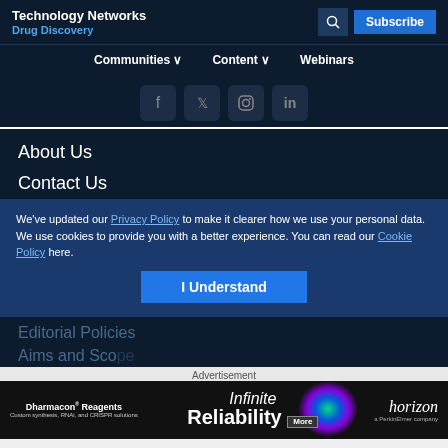Technology Networks Drug Discovery
Communities  Content  Webinars
[Figure (other): Social media icons for Facebook, Twitter, Instagram, LinkedIn]
About Us
Contact Us
We've updated our Privacy Policy to make it clearer how we use your personal data.
We use cookies to provide you with a better experience. You can read our Cookie Policy here.
I Understand
Editorial Policies
Aims and Scope
Advertisement
[Figure (illustration): Dharmacon Reagents advertisement banner: Infinite Reliability with Horizon logo]